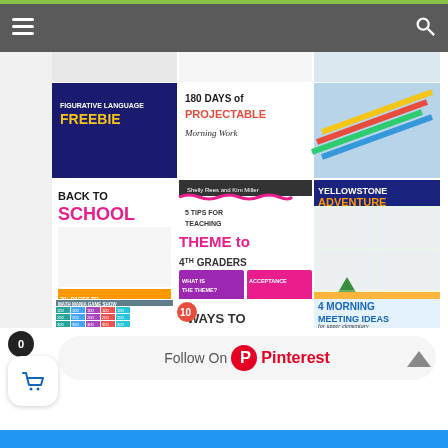[Figure (screenshot): Website screenshot showing an educational blog with a grid of teaching resource images including: Figurative Language FREEBIE, 180 Days of Projectable Morning Work, Back to School (70+ pages to choose from), 5 Tips for Teaching Theme to 4th Graders, Yellowstone Adventure Reading Comprehension, 4 Morning Meeting Ideas for upper elementary, and a Math Mania Game Show resource. Below the grid is a Follow On Pinterest button, a cart icon with 0 items, and an up arrow. At the very bottom is a blue bar.]